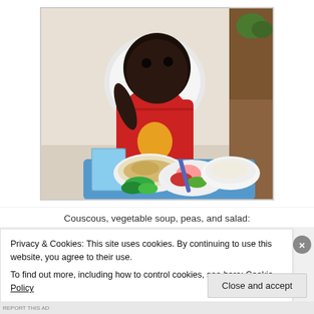[Figure (photo): A young child sitting in a high chair eating, with plates of food on the tray including couscous, vegetable soup, peas, and salad. The child is wearing a red shirt and reaching toward the food.]
Couscous, vegetable soup, peas, and salad:
Privacy & Cookies: This site uses cookies. By continuing to use this website, you agree to their use.
To find out more, including how to control cookies, see here: Cookie Policy
Close and accept